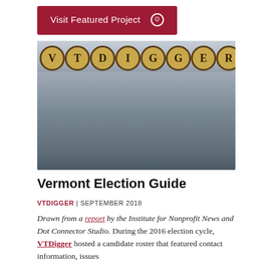Visit Featured Project ⊙
[Figure (photo): Group photo of VTDigger staff standing on steps outdoors, with large typewriter key circles spelling VTDIGGER above them]
Vermont Election Guide
VTDIGGER | SEPTEMBER 2018
Drawn from a report by the Institute for Nonprofit News and Dot Connector Studio. During the 2016 election cycle, VTDigger hosted a candidate roster that featured contact information, issues